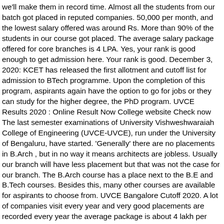we'll make them in record time. Almost all the students from our batch got placed in reputed companies. 50,000 per month, and the lowest salary offered was around Rs. More than 90% of the students in our course got placed. The average salary package offered for core branches is 4 LPA. Yes, your rank is good enough to get admission here. Your rank is good. December 3, 2020: KCET has released the first allotment and cutoff list for admission to BTech programme. Upon the completion of this program, aspirants again have the option to go for jobs or they can study for the higher degree, the PhD program. UVCE Results 2020 : Online Result Now College website Check now The last semester examinations of University Vishweshwaraiah College of Engineering (UVCE-UVCE), run under the University of Bengaluru, have started. 'Generally' there are no placements in B.Arch , but in no way it means architects are jobless. Usually our branch will have less placement but that was not the case for our branch. The B.Arch course has a place next to the B.E and B.Tech courses. Besides this, many other courses are available for aspirants to choose from. UVCE Bangalore Cutoff 2020. A lot of companies visit every year and very good placements are recorded every year the average package is about 4 lakh per annum and the highest for 2019- 20 batch is 48 Lacs per annum, two students got that offer. Infrastructure wise our college is not that good but they are really putting efforts to make it good. The food facility is better, and the hostel is near to the college. I have